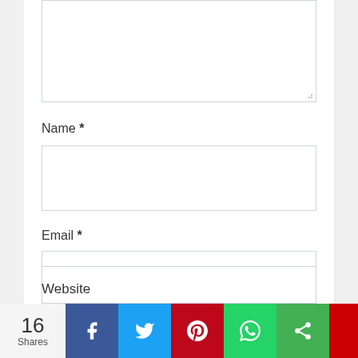[Figure (screenshot): Web form fields: textarea (partial), Name field with input box, Email field with input box, Website label. Share bar at bottom with 16 Shares, Facebook, Twitter, Pinterest, WhatsApp, and share icons.]
Name *
Email *
Website
16 Shares